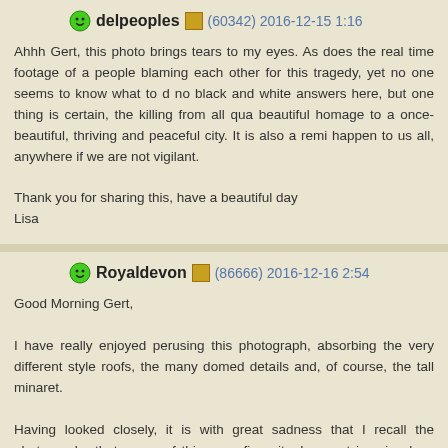delpeoples (60342) 2016-12-15 1:16
Ahhh Gert, this photo brings tears to my eyes. As does the real time footage of a people blaming each other for this tragedy, yet no one seems to know what to d no black and white answers here, but one thing is certain, the killing from all qu beautiful homage to a once-beautiful, thriving and peaceful city. It is also a remi happen to us all, anywhere if we are not vigilant.

Thank you for sharing this, have a beautiful day
Lisa
Royaldevon (86666) 2016-12-16 2:54
Good Morning Gert,

I have really enjoyed perusing this photograph, absorbing the very different style roofs, the many domed details and, of course, the tall minaret.

Having looked closely, it is with great sadness that I recall the photographs that news, of this once fine city. I cannot imagine how people can have such lack of beings. It is almost like a snowball, cascading down a hillside, one atrocity inciti until there is no limit to what devastation ensues!
Will we ever learn!

Thank you for sharing this, and stirring our consciences!